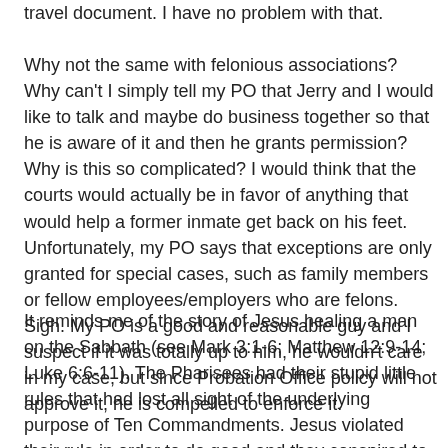travel document. I have no problem with that.
Why not the same with felonious associations? Why can't I simply tell my PO that Jerry and I would like to talk and maybe do business together so that he is aware of it and then he grants permission? Why is this so complicated? I would think that the courts would actually be in favor of anything that would help a former inmate get back on his feet. Unfortunately, my PO says that exceptions are only granted for special cases, such as family members or fellow employees/employers who are felons. Sigh. My PO is a good and reasonable guy and I suspect if it was totally up to him, he wouldn't care in my case, but since Probation Office policy will not approve it, he is compelled to enforce it.
It reminds me of the story of Jesus healing a man on the Sabbath (see Mark 3:1-6; Matthew 12:9-14; Luke 6:6-11). The Pharisees had their stupid little rules that had lost all sight of the underlying purpose of Ten Commandments. Jesus violated their rule in order to do good and they conspired to kill him for threatening the underlying system they had so carefully constructed.